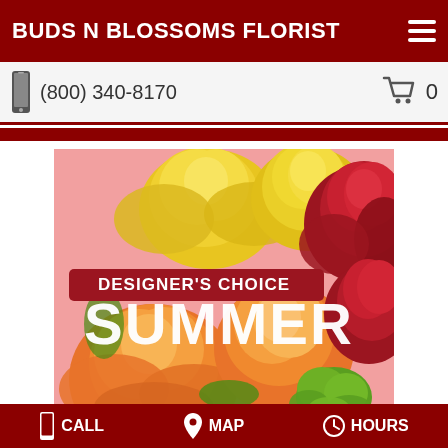BUDS N BLOSSOMS FLORIST
(800) 340-8170
[Figure (photo): Florist product photo showing orange, yellow, and red roses with green chrysanthemums and a banner reading DESIGNER'S CHOICE SUMMER]
CALL   MAP   HOURS